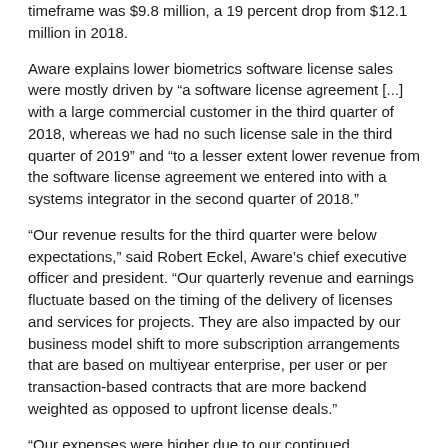timeframe was $9.8 million, a 19 percent drop from $12.1 million in 2018.
Aware explains lower biometrics software license sales were mostly driven by "a software license agreement [...] with a large commercial customer in the third quarter of 2018, whereas we had no such license sale in the third quarter of 2019" and "to a lesser extent lower revenue from the software license agreement we entered into with a systems integrator in the second quarter of 2018."
“Our revenue results for the third quarter were below expectations,” said Robert Eckel, Aware’s chief executive officer and president. “Our quarterly revenue and earnings fluctuate based on the timing of the delivery of licenses and services for projects. They are also impacted by our business model shift to more subscription arrangements that are based on multiyear enterprise, per user or per transaction-based contracts that are more backend weighted as opposed to upfront license deals.”
“Our expenses were higher due to our continued investments in productized solutions and business development with respect to enhancing customer centric product offerings addressing the